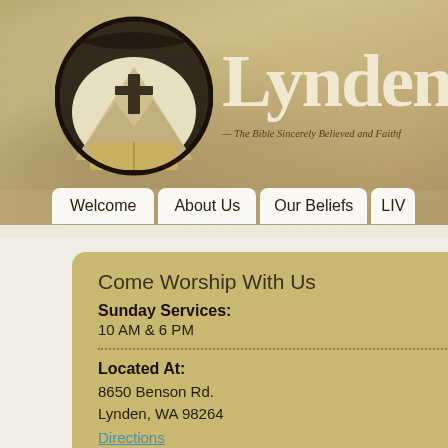[Figure (screenshot): Lynden church website screenshot showing logo with cross and Bible, site title 'Lynden U', subtitle 'The Bible Sincerely Believed and Faithfully Preached', navigation bar with Welcome, About Us, Our Beliefs, LIV tabs, and a golden card with worship service info.]
Lynden U
The Bible Sincerely Believed and Faithf...
Welcome
About Us
Our Beliefs
LIV
Come Worship With Us
Sunday Services:
10 AM & 6 PM
Located At:
8650 Benson Rd.
Lynden, WA 98264
Directions
Pastor Rev. Mark St...